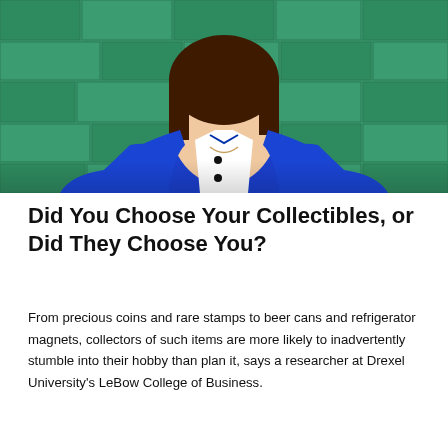[Figure (photo): Woman in blue blazer and white top standing against a green stone wall background, photographed from torso up.]
Did You Choose Your Collectibles, or Did They Choose You?
From precious coins and rare stamps to beer cans and refrigerator magnets, collectors of such items are more likely to inadvertently stumble into their hobby than plan it, says a researcher at Drexel University's LeBow College of Business.
[Figure (photo): Four decorative teapots displayed on a wooden shelf: a white teapot with green clover design, a white teapot with red floral design, a white teapot with black polka dot design, and a dark blue/black teapot with red lid.]